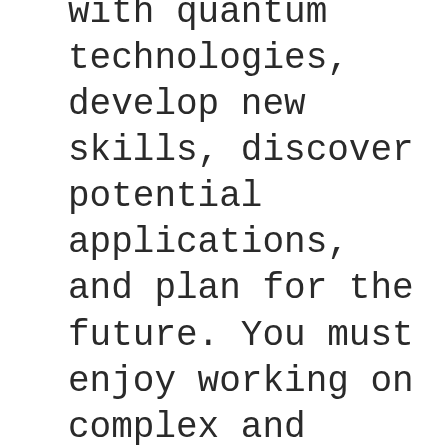with quantum technologies, develop new skills, discover potential applications, and plan for the future. You must enjoy working on complex and ambiguous problems, you will enjoy working with engineers and scientists, and thrive in a fast-paced and uncertain market. You are familiar with software development best practices, building and managing scalable systems, and delivering a user experience that customers will love.